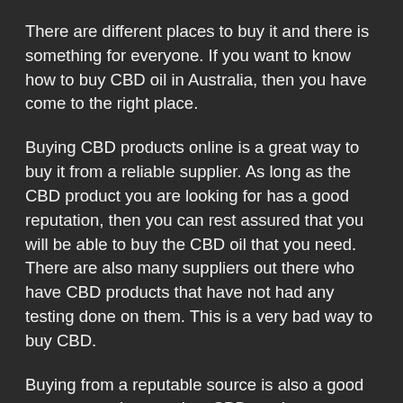There are different places to buy it and there is something for everyone. If you want to know how to buy CBD oil in Australia, then you have come to the right place.
Buying CBD products online is a great way to buy it from a reliable supplier. As long as the CBD product you are looking for has a good reputation, then you can rest assured that you will be able to buy the CBD oil that you need. There are also many suppliers out there who have CBD products that have not had any testing done on them. This is a very bad way to buy CBD.
Buying from a reputable source is also a good way to get a better price. CBD products are generally cheaper than other products, so if you can find a supplier who has a good reputation, then this could help you save even more money. This should make it much easier to find the CBD